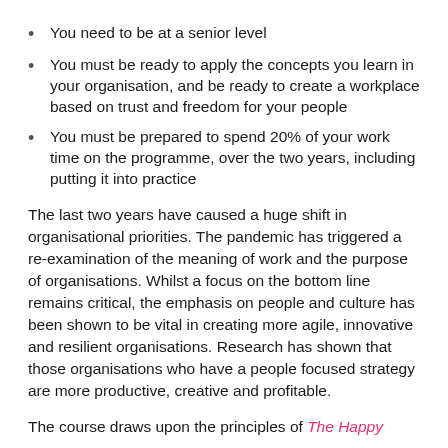You need to be at a senior level
You must be ready to apply the concepts you learn in your organisation, and be ready to create a workplace based on trust and freedom for your people
You must be prepared to spend 20% of your work time on the programme, over the two years, including putting it into practice
The last two years have caused a huge shift in organisational priorities. The pandemic has triggered a re-examination of the meaning of work and the purpose of organisations. Whilst a focus on the bottom line remains critical, the emphasis on people and culture has been shown to be vital in creating more agile, innovative and resilient organisations. Research has shown that those organisations who have a people focused strategy are more productive, creative and profitable.
The course draws upon the principles of The Happy